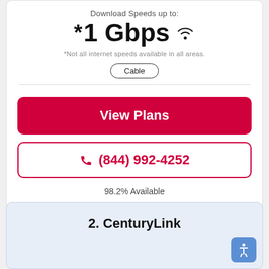Download Speeds up to:
* 1 Gbps
*Not all internet speeds available in all areas.
Cable
View Plans
(844) 992-4252
98.2% Available
2. CenturyLink